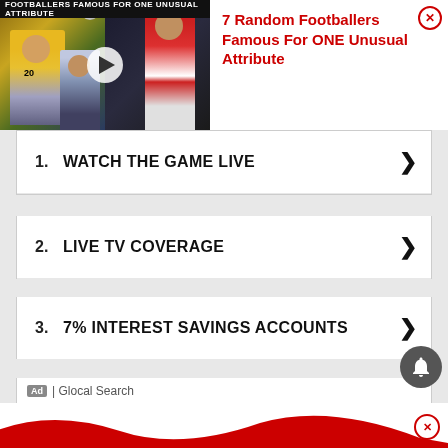[Figure (screenshot): Video thumbnail showing footballers with play button overlay, titled 'Footballers Famous For One Unusual Attribute']
7 Random Footballers Famous For ONE Unusual Attribute
1. WATCH THE GAME LIVE ›
2. LIVE TV COVERAGE ›
3. 7% INTEREST SAVINGS ACCOUNTS ›
Ad | Glocal Search
[Figure (illustration): Red wavy line at bottom of page with close X button]